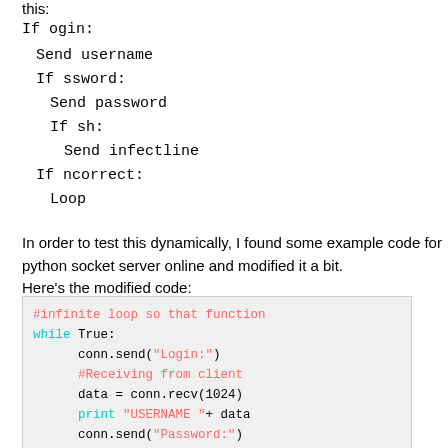this:
If ogin:
Send username
If ssword:
Send password
If sh:
Send infectline
If ncorrect:
Loop
In order to test this dynamically, I found some example code for python socket server online and modified it a bit.
Here's the modified code:
[Figure (screenshot): Python code snippet showing a socket server with infinite loop, login/password prompts using conn.send and conn.recv, and print statements for USERNAME and PASSWORD.]